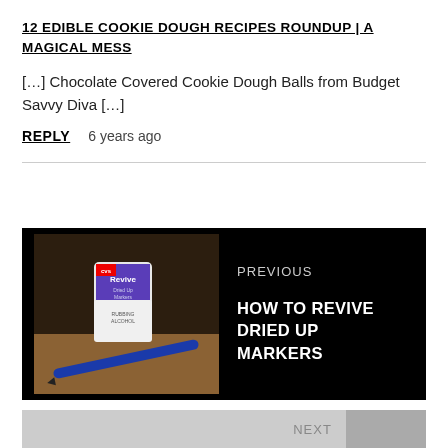12 EDIBLE COOKIE DOUGH RECIPES ROUNDUP | A MAGICAL MESS
[…] Chocolate Covered Cookie Dough Balls from Budget Savvy Diva […]
REPLY   6 years ago
[Figure (photo): Navigation block showing a previous post: image of CVS Revive rubbing alcohol bottle and a blue marker on a wooden surface, with text 'PREVIOUS' and 'HOW TO REVIVE DRIED UP MARKERS']
NEXT